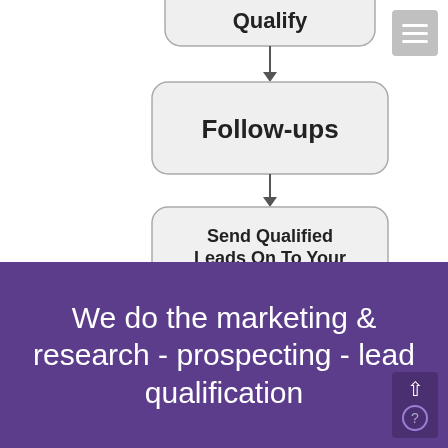[Figure (flowchart): Partial flowchart showing two rounded-rectangle boxes labeled 'Qualify' (top, partially cut off) and 'Follow-ups' connected by a downward arrow, then 'Follow-ups' to 'Send Qualified Leads On To Your Team' connected by a downward arrow.]
We do the marketing & research - prospecting - lead qualification